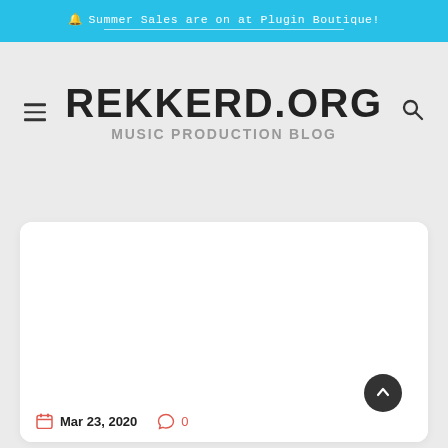🔔 Summer Sales are on at Plugin Boutique!
REKKERD.ORG
MUSIC PRODUCTION BLOG
[Figure (screenshot): White card area with a blank image placeholder, showing a date 'Mar 23, 2020' with a calendar icon in red, and a comment count '0' with a speech bubble icon in red/coral color. A dark circular scroll-to-top button with an upward arrow is in the bottom right.]